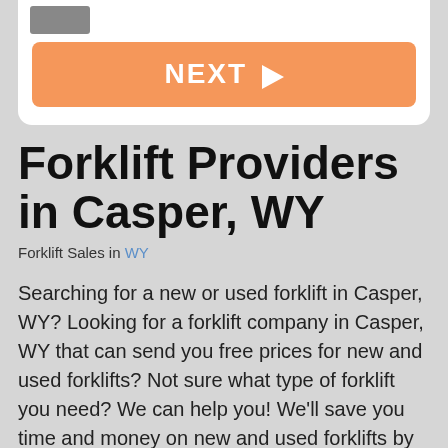[Figure (screenshot): Top white card with image thumbnail and orange NEXT button]
Forklift Providers in Casper, WY
Forklift Sales in WY
Searching for a new or used forklift in Casper, WY? Looking for a forklift company in Casper, WY that can send you free prices for new and used forklifts? Not sure what type of forklift you need? We can help you! We'll save you time and money on new and used forklifts by working with you to make sure you get the right forklift for the job. We serve these areas: